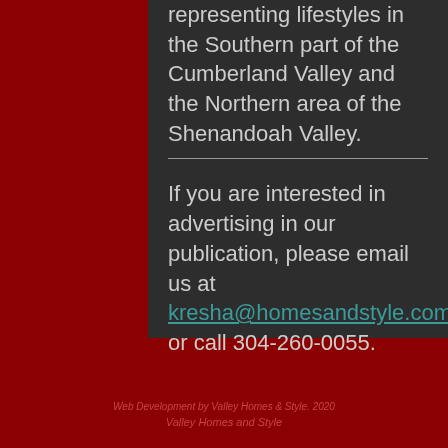representing lifestyles in the Southern part of the Cumberland Valley and the Northern area of the Shenandoah Valley.
If you are interested in advertising in our publication, please email us at kresha@homesandstyle.com or call 304-260-0055.
Web Development by Valley Homes & Style. 2020 Valley Homes and Style